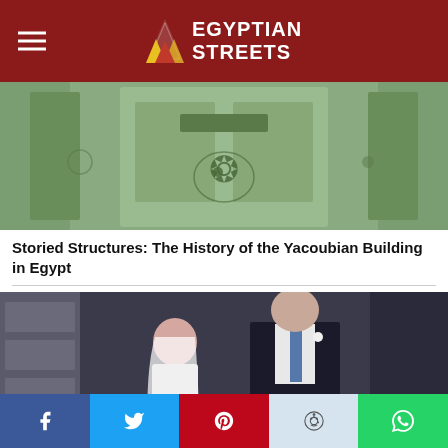Egyptian Streets
[Figure (photo): Green ornate doorway of the Yacoubian Building in Egypt]
Storied Structures: The History of the Yacoubian Building in Egypt
[Figure (photo): Young girl in wedding dress and veil standing next to a man in a dark suit, illustrating child marriage]
How Child Marriages Continue to Burden Egypt's Society
[Figure (photo): Partial view of a third article image (cropped)]